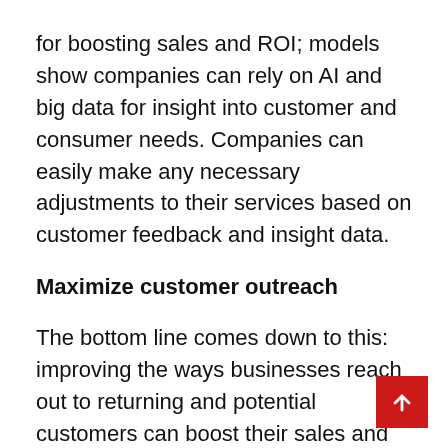for boosting sales and ROI; models show companies can rely on AI and big data for insight into customer and consumer needs. Companies can easily make any necessary adjustments to their services based on customer feedback and insight data.
Maximize customer outreach
The bottom line comes down to this: improving the ways businesses reach out to returning and potential customers can boost their sales and increase ROI. Technological advancements have removed the geographic limitations that businesses once faced, and companies can reach global consumers and customers through the Internet and countless web and social networking sites.